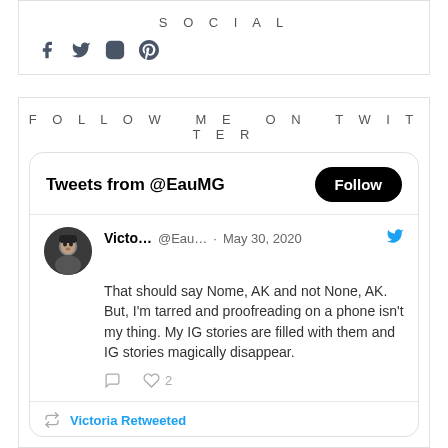SOCIAL
[Figure (other): Social media icons: Facebook, Twitter, Instagram, Pinterest]
FOLLOW ME ON TWITTER
[Figure (screenshot): Twitter widget showing Tweets from @EauMG with a Follow button, a tweet from Victo... @Eau... May 30, 2020 reading 'That should say Nome, AK and not None, AK. But, I'm tarred and proofreading on a phone isn't my thing. My IG stories are filled with them and IG stories magically disappear.' with 2 likes. Below is 'Victoria Retweeted' section.]